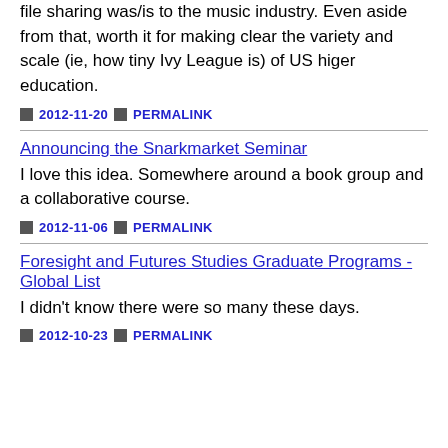file sharing was/is to the music industry. Even aside from that, worth it for making clear the variety and scale (ie, how tiny Ivy League is) of US higer education.
2012-11-20  PERMALINK
Announcing the Snarkmarket Seminar
I love this idea. Somewhere around a book group and a collaborative course.
2012-11-06  PERMALINK
Foresight and Futures Studies Graduate Programs - Global List
I didn't know there were so many these days.
2012-10-23  PERMALINK